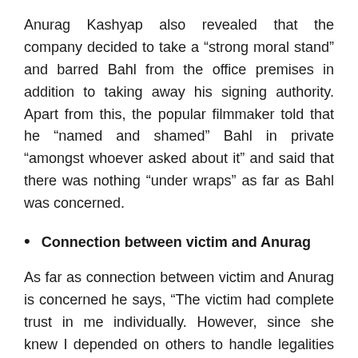Anurag Kashyap also revealed that the company decided to take a “strong moral stand” and barred Bahl from the office premises in addition to taking away his signing authority. Apart from this, the popular filmmaker told that he “named and shamed” Bahl in private “amongst whoever asked about it” and said that there was nothing “under wraps” as far as Bahl was concerned.
Connection between victim and Anurag
As far as connection between victim and Anurag is concerned he says, “The victim had complete trust in me individually. However, since she knew I depended on others to handle legalities (and perhaps was more perceptive than me in seeing how I was being poorly advised), maybe she found